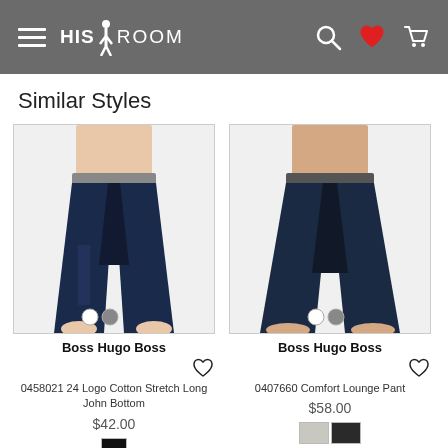HIS ROOM — navigation header with hamburger menu, search, wishlist, and cart icons
Similar Styles
[Figure (photo): Boss Hugo Boss navy long john bottom pants on male model, with white and gray color dot selectors]
Boss Hugo Boss
0458021 24 Logo Cotton Stretch Long John Bottom
$42.00
[Figure (photo): Boss Hugo Boss navy comfort lounge pants on male model, with white and gray color dot selectors]
Boss Hugo Boss
0407660 Comfort Lounge Pant
$58.00
[Figure (photo): Partial bottom row product images — two products partially visible]
[Figure (photo): Partial bottom row product image — second product partially visible]